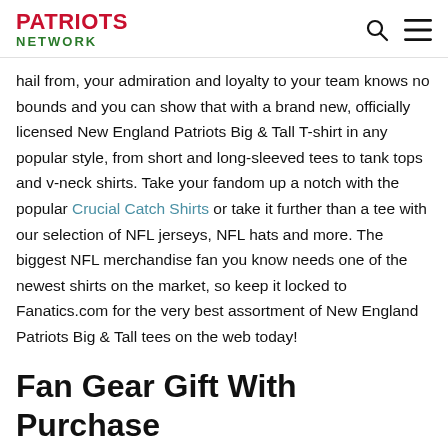PATRIOTS NETWORK
hail from, your admiration and loyalty to your team knows no bounds and you can show that with a brand new, officially licensed New England Patriots Big & Tall T-shirt in any popular style, from short and long-sleeved tees to tank tops and v-neck shirts. Take your fandom up a notch with the popular Crucial Catch Shirts or take it further than a tee with our selection of NFL jerseys, NFL hats and more. The biggest NFL merchandise fan you know needs one of the newest shirts on the market, so keep it locked to Fanatics.com for the very best assortment of New England Patriots Big & Tall tees on the web today!
Fan Gear Gift With Purchase
**OFFER VALID THROUGH SEPTEMBER 13, 2021, WHILE SUPPLIES LAST. Purchase any MLB, NFL, and Collegiate